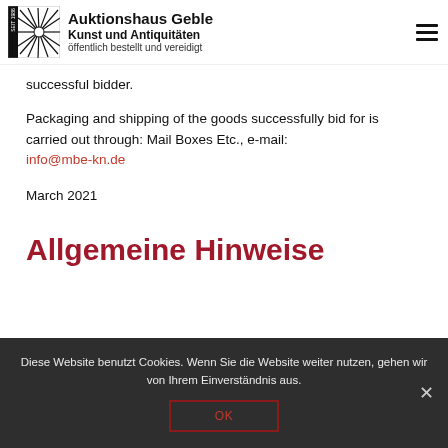Auktionshaus Geble Kunst und Antiquitäten öffentlich bestellt und vereidigt
successful bidder.
Packaging and shipping of the goods successfully bid for is carried out through: Mail Boxes Etc., e-mail: info@mbe-kn.de
March 2021
Allgemeine Hinweise
Diese Website benutzt Cookies. Wenn Sie die Website weiter nutzen, gehen wir von Ihrem Einverständnis aus.